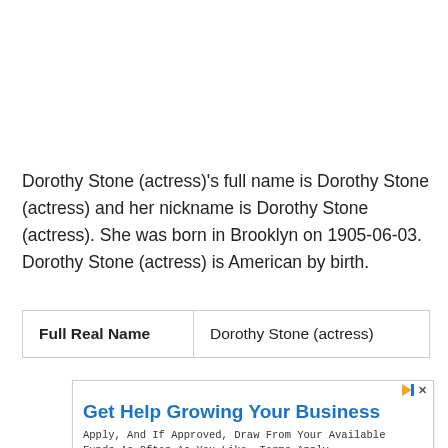Dorothy Stone (actress)'s full name is Dorothy Stone (actress) and her nickname is Dorothy Stone (actress). She was born in Brooklyn on 1905-06-03. Dorothy Stone (actress) is American by birth.
| Full Real Name | Dorothy Stone (actress) |
| --- | --- |
[Figure (other): Advertisement banner: 'Get Help Growing Your Business' from Kabbage Funding with 'Apply Now' button]